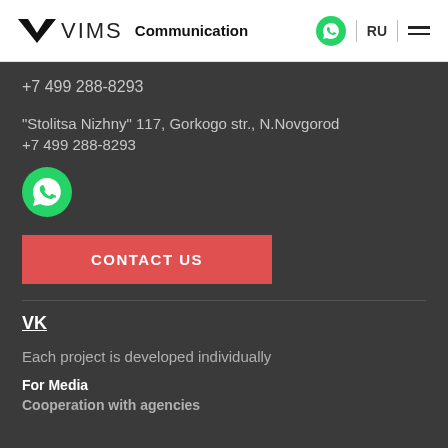VIMS Communication RU
+7 499 288-8293
"Stolitsa Nizhny" 117, Gorkogo str., N.Novgorod
+7 499 288-8293
[Figure (logo): WhatsApp icon (large green circle with phone handset)]
CONTACT US
VK
Each project is developed individually
For Media
Cooperation with agencies